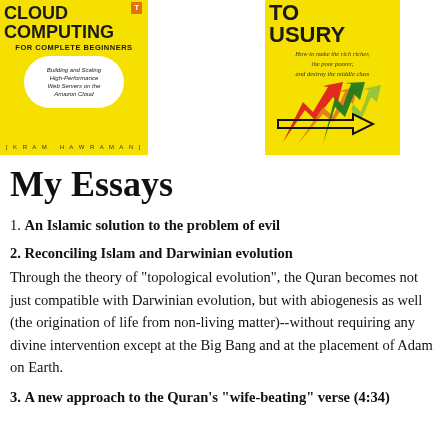[Figure (photo): Book cover: Cloud Computing for Complete Beginners by Ikram Hawraman, yellow cover with cloud shape graphic]
[Figure (photo): Book cover: Introduction to Usury, yellow cover with colorful upward arrows graphic and subtitle about making rich richer, poor poorer, destroying middle class]
My Essays
1. An Islamic solution to the problem of evil
2. Reconciling Islam and Darwinian evolution
Through the theory of "topological evolution", the Quran becomes not just compatible with Darwinian evolution, but with abiogenesis as well (the origination of life from non-living matter)--without requiring any divine intervention except at the Big Bang and at the placement of Adam on Earth.
3. A new approach to the Quran's "wife-beating" verse (4:34)